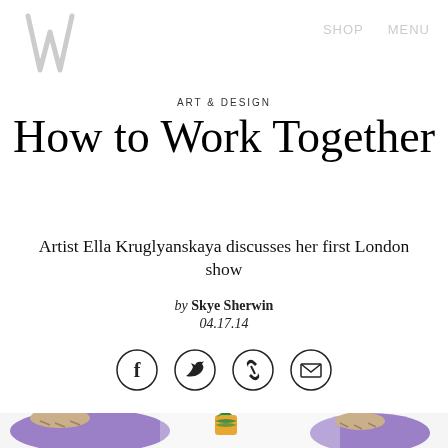W — SHOP  MENU
ART & DESIGN
How to Work Together
Artist Ella Kruglyanskaya discusses her first London show
by Skye Sherwin
04.17.14
[Figure (other): Social sharing icons: Facebook, Twitter, link/chain, email — circular outlined icons]
[Figure (illustration): Colorful illustration showing figures with stylized hair against a purple background with tropical/floral elements including a pineapple]